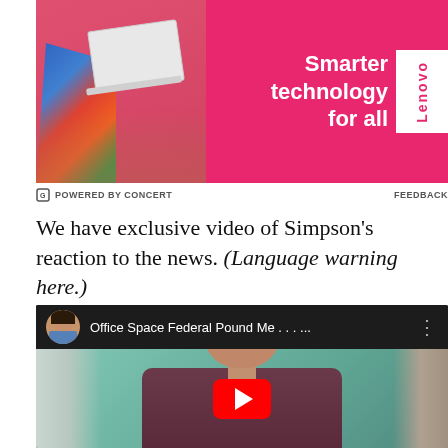[Figure (photo): Lenovo advertisement banner with pink background showing a person holding a laptop. Text reads 'Smarter technology for all' with Lenovo branding on white side tab.]
POWERED BY CONCERT   FEEDBACK
We have exclusive video of Simpson's reaction to the news. (Language warning here.)
[Figure (screenshot): Embedded YouTube video player showing 'Office Space Federal Pound Me . . . ...' with a thumbnail of a man with glasses and dark hair. A red YouTube play button is centered over the thumbnail. The video header shows an avatar of a man in a blue shirt.]